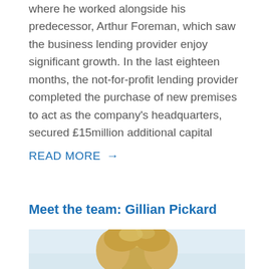where he worked alongside his predecessor, Arthur Foreman, which saw the business lending provider enjoy significant growth. In the last eighteen months, the not-for-profit lending provider completed the purchase of new premises to act as the company's headquarters, secured £15million additional capital
READ MORE →
Meet the team: Gillian Pickard
[Figure (photo): Portrait photo of Gillian Pickard, showing top of her blonde hair against a light blue/white background]